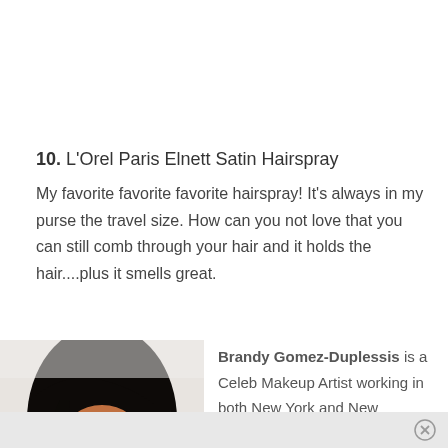10. L'Orel Paris Elnett Satin Hairspray
My favorite favorite favorite hairspray! It's always in my purse the travel size. How can you not love that you can still comb through your hair and it holds the hair....plus it smells great.
[Figure (photo): Headshot photo of Brandy Gomez-Duplessis, a woman with long dark hair and makeup, photographed indoors.]
Brandy Gomez-Duplessis is a Celeb Makeup Artist working in both New York and New Orleans. She has worked with celebs such as Melissa Leo, Jennifer Aniston, Kerry